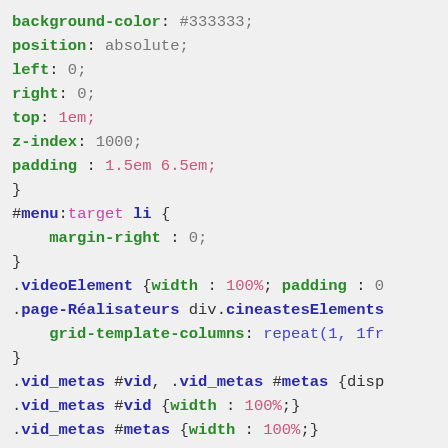CSS code snippet showing background-color, position, left, right, top, z-index, padding properties, #menu:target li rule with margin-right, .videoElement rule, .page-Réalisateurs div.cineastesElements rule with grid-template-columns, .vid_metas #vid and #metas display rule, .vid_metas #vid width rule, .vid_metas #metas width rule